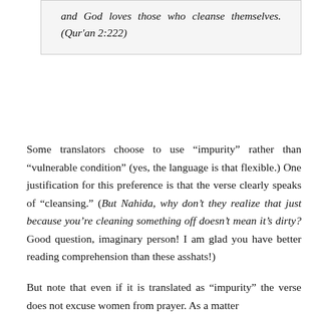and God loves those who cleanse themselves. (Qur'an 2:222)
Some translators choose to use “impurity” rather than “vulnerable condition” (yes, the language is that flexible.) One justification for this preference is that the verse clearly speaks of “cleansing.” (But Nahida, why don’t they realize that just because you’re cleaning something off doesn’t mean it’s dirty? Good question, imaginary person! I am glad you have better reading comprehension than these asshats!)
But note that even if it is translated as “impurity” the verse does not excuse women from prayer. As a matter